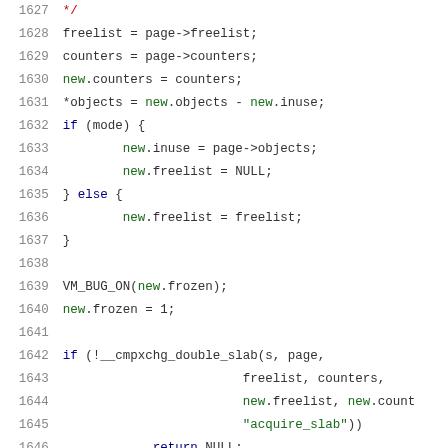Code listing lines 1627-1647, C source code showing slab allocator logic including freelist/counters assignment, conditional inuse/freelist setup, VM_BUG_ON check, frozen flag, and cmpxchg_double_slab call